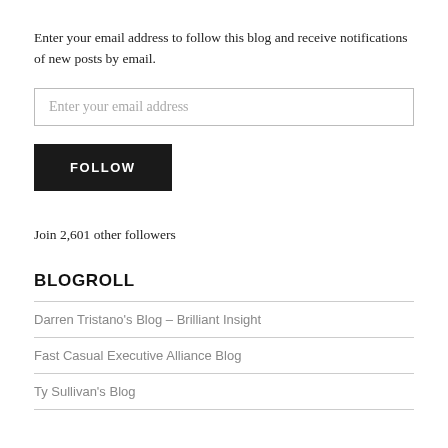Enter your email address to follow this blog and receive notifications of new posts by email.
Enter your email address
FOLLOW
Join 2,601 other followers
BLOGROLL
Darren Tristano's Blog – Brilliant Insight
Fast Casual Executive Alliance Blog
Ty Sullivan's Blog